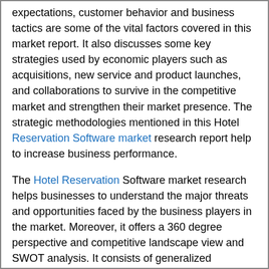expectations, customer behavior and business tactics are some of the vital factors covered in this market report. It also discusses some key strategies used by economic players such as acquisitions, new service and product launches, and collaborations to survive in the competitive market and strengthen their market presence. The strategic methodologies mentioned in this Hotel Reservation Software market research report help to increase business performance.
The Hotel Reservation Software market research helps businesses to understand the major threats and opportunities faced by the business players in the market. Moreover, it offers a 360 degree perspective and competitive landscape view and SWOT analysis. It consists of generalized information and data about product or technology advancements in the market and an overview of the impact of these advancements on the potential expansion of the market. This study provides an